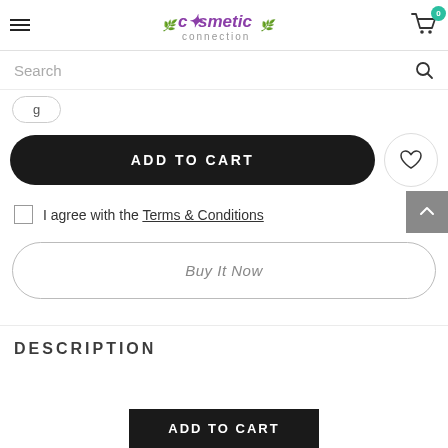Cosmetic Connection — navigation header with hamburger menu, logo, and cart icon (badge: 0)
Search
ADD TO CART
I agree with the Terms & Conditions
Buy It Now
DESCRIPTION
ADD TO CART